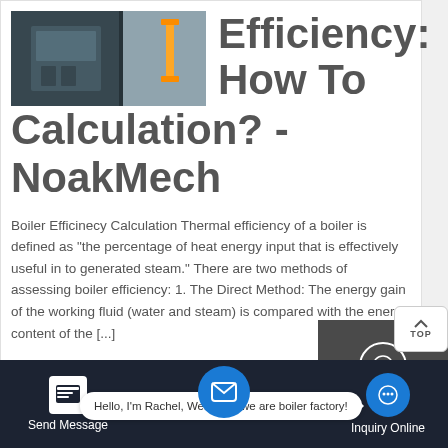[Figure (photo): Photo of an industrial boiler unit, dark blue/grey cabinet with yellow gas pipe visible on the right side]
Efficiency: How To Calculation? - NoakMech
Boiler Efficinecy Calculation Thermal efficiency of a boiler is defined as "the percentage of heat energy input that is effectively useful in to generated steam." There are two methods of assessing boiler efficiency: 1. The Direct Method: The energy gain of the working fluid (water and steam) is compared with the energy content of the [...]
GET A QUOTE
Chat
Email
Contact
Hello, I'm Rachel, Welcome! we are boiler factory!
Send Message
Inquiry Online